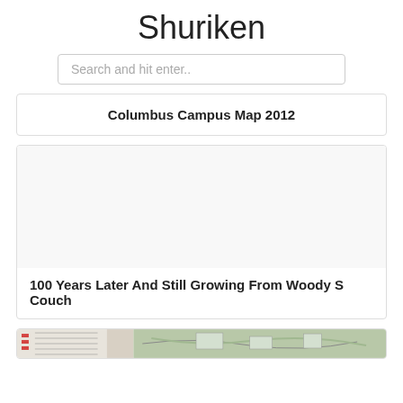Shuriken
Search and hit enter..
Columbus Campus Map 2012
100 Years Later And Still Growing From Woody S Couch
[Figure (map): Partial campus map thumbnail visible at bottom of page]